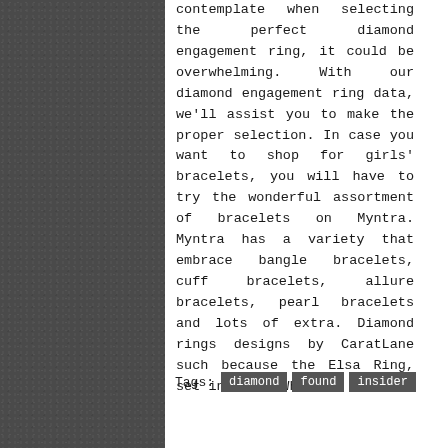contemplate when selecting the perfect diamond engagement ring, it could be overwhelming. With our diamond engagement ring data, we'll assist you to make the proper selection. In case you want to shop for girls' bracelets, you will have to try the wonderful assortment of bracelets on Myntra. Myntra has a variety that embrace bangle bracelets, cuff bracelets, allure bracelets, pearl bracelets and lots of extra. Diamond rings designs by CaratLane such because the Elsa Ring, set in 18 Kt White ...
Tags: diamond found insider